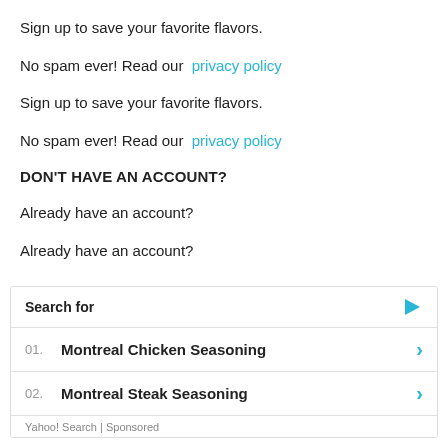Sign up to save your favorite flavors.
No spam ever! Read our privacy policy
Sign up to save your favorite flavors.
No spam ever! Read our privacy policy
DON'T HAVE AN ACCOUNT?
Already have an account?
Already have an account?
| Search for |  |  |
| --- | --- | --- |
| 01. | Montreal Chicken Seasoning | > |
| 02. | Montreal Steak Seasoning | > |
Yahoo! Search | Sponsored